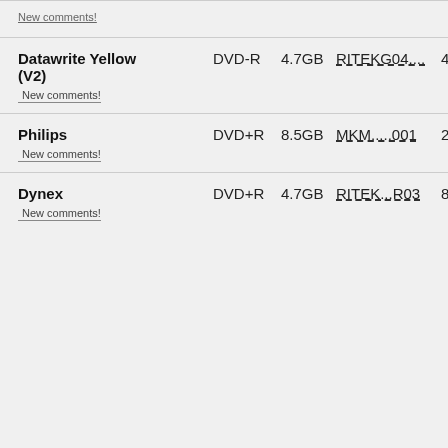New comments! (partial row at top)
Datawrite Yellow (V2) | DVD-R | 4.7GB | RITEKG04.... | 4x | New comments!
Philips | DVD+R | 8.5GB | MKM.....001 | 2.4x | New comments!
Dynex | DVD+R | 4.7GB | RITEK...R03 | 8x | New comments!